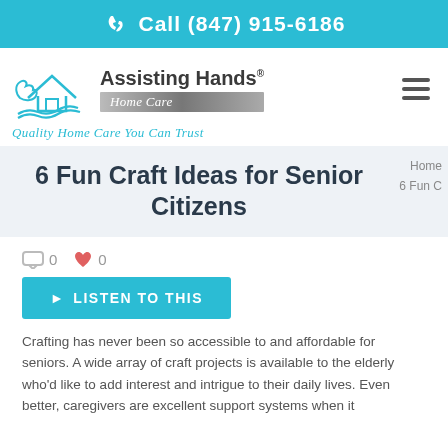Call (847) 915-6186
[Figure (logo): Assisting Hands Home Care logo with house and hands icon, text 'Assisting Hands Home Care']
Quality Home Care You Can Trust
6 Fun Craft Ideas for Senior Citizens
Home 6 Fun C
0  0
LISTEN TO THIS
Crafting has never been so accessible to and affordable for seniors. A wide array of craft projects is available to the elderly who'd like to add interest and intrigue to their daily lives. Even better, caregivers are excellent support systems when it